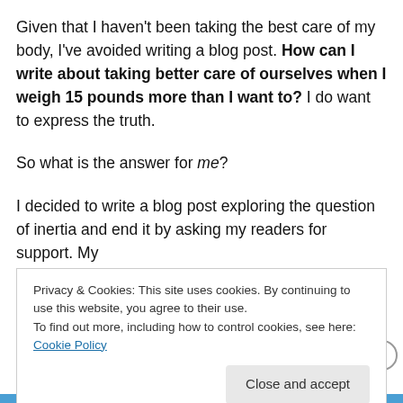Given that I haven't been taking the best care of my body, I've avoided writing a blog post. How can I write about taking better care of ourselves when I weigh 15 pounds more than I want to?  I do want to express the truth.
So what is the answer for me?
I decided to write a blog post exploring the question of inertia and end it by asking my readers for support. My
Privacy & Cookies: This site uses cookies. By continuing to use this website, you agree to their use.
To find out more, including how to control cookies, see here: Cookie Policy
Close and accept
Advertisements